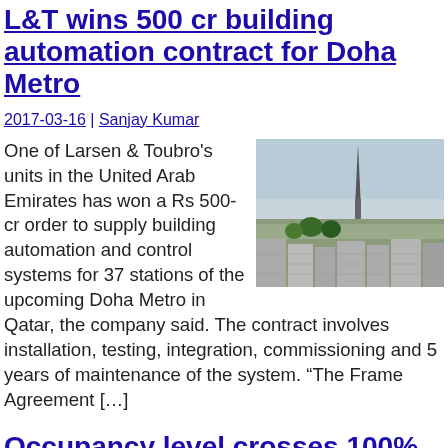L&T wins 500 cr building automation contract for Doha Metro
2017-03-16 | Sanjay Kumar
[Figure (photo): Aerial view of Doha Metro station area with a tall tower in the background, palm trees, and urban infrastructure]
One of Larsen & Toubro's units in the United Arab Emirates has won a Rs 500-cr order to supply building automation and control systems for 37 stations of the upcoming Doha Metro in Qatar, the company said. The contract involves installation, testing, integration, commissioning and 5 years of maintenance of the system. “The Frame Agreement […]
Occupancy level crosses 100% on Indian Railways